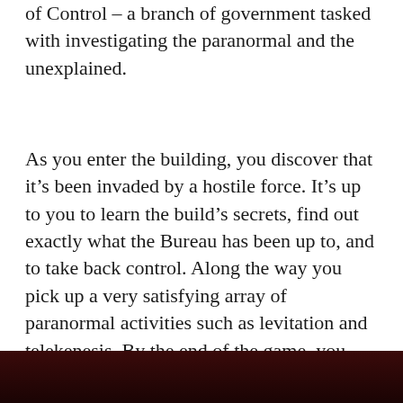of Control – a branch of government tasked with investigating the paranormal and the unexplained.
As you enter the building, you discover that it's been invaded by a hostile force. It's up to you to learn the build's secrets, find out exactly what the Bureau has been up to, and to take back control. Along the way you pick up a very satisfying array of paranormal activities such as levitation and telekenesis. By the end of the game, you feel like a complete badass. There's one particular late-game sequence that really lets you show off your skills and it's one of the best set pieces I've ever played in a game.
[Figure (photo): Dark reddish-black banner or image at the bottom of the page]